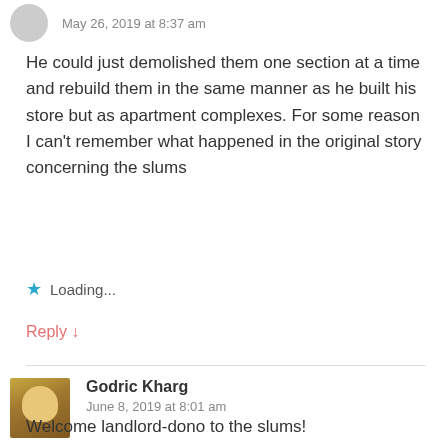May 26, 2019 at 8:37 am
He could just demolished them one section at a time and rebuild them in the same manner as he built his store but as apartment complexes. For some reason I can't remember what happened in the original story concerning the slums
Loading...
Reply ↓
Godric Kharg
June 8, 2019 at 8:01 am
Welcome landlord-dono to the slums!